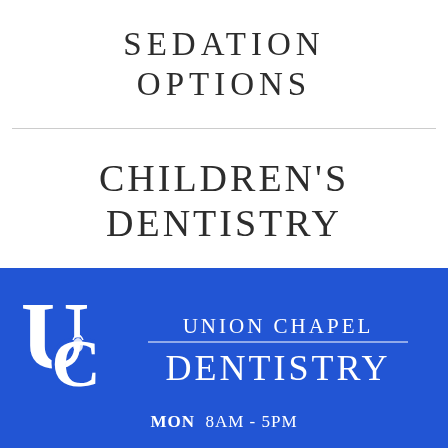SEDATION OPTIONS
CHILDREN'S DENTISTRY
[Figure (logo): Union Chapel Dentistry logo with UC monogram and text on blue background]
12714 Coldwater Rd Suite A
Fort Wayne, IN 46706
(260) 232-0280
MON  8AM - 5PM